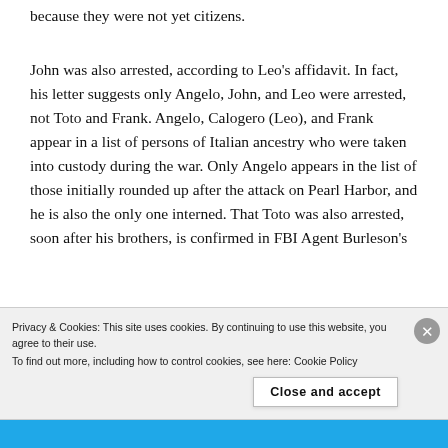because they were not yet citizens.
John was also arrested, according to Leo’s affidavit. In fact, his letter suggests only Angelo, John, and Leo were arrested, not Toto and Frank. Angelo, Calogero (Leo), and Frank appear in a list of persons of Italian ancestry who were taken into custody during the war. Only Angelo appears in the list of those initially rounded up after the attack on Pearl Harbor, and he is also the only one interned. That Toto was also arrested, soon after his brothers, is confirmed in FBI Agent Burleson’s
Privacy & Cookies: This site uses cookies. By continuing to use this website, you agree to their use.
To find out more, including how to control cookies, see here: Cookie Policy
Close and accept